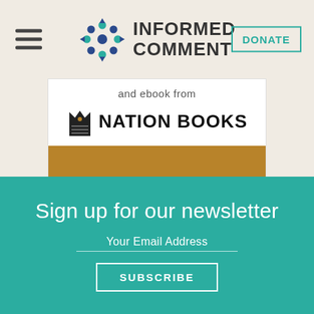INFORMED COMMENT
[Figure (screenshot): Nation Books publisher logo with crown/book icon and bold text 'NATION BOOKS', preceded by text 'and ebook from'. Below the logo is a tan/brown colored bar at the bottom of the card.]
Sign up for our newsletter
Your Email Address
SUBSCRIBE